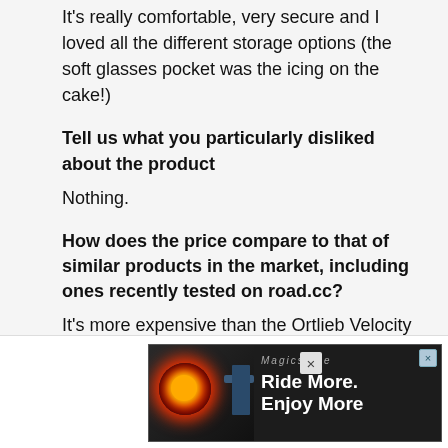It's really comfortable, very secure and I loved all the different storage options (the soft glasses pocket was the icing on the cake!)
Tell us what you particularly disliked about the product
Nothing.
How does the price compare to that of similar products in the market, including ones recently tested on road.cc?
It's more expensive than the Ortlieb Velocity 17-litre backpack, but I'd argue that isn't quite as convenient to access, with its roll-top closure system, and doesn't have anywhere near the storage versatility. The Thule R  'n Pec                                                      nd bigg                                                      ng (yo
[Figure (other): Advertisement banner: 'Ride More. Enjoy More' with cycling light imagery]